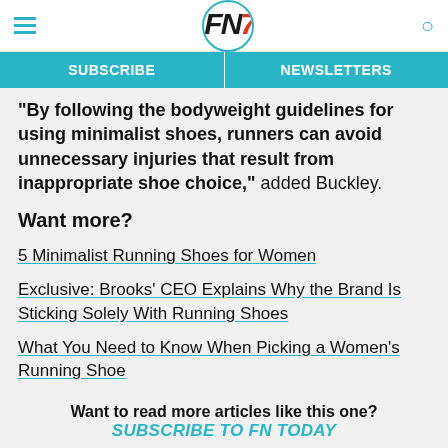FN7 — SUBSCRIBE | NEWSLETTERS
"By following the bodyweight guidelines for using minimalist shoes, runners can avoid unnecessary injuries that result from inappropriate shoe choice," added Buckley.
Want more?
5 Minimalist Running Shoes for Women
Exclusive: Brooks' CEO Explains Why the Brand Is Sticking Solely With Running Shoes
What You Need to Know When Picking a Women's Running Shoe
Want to read more articles like this one?
SUBSCRIBE TO FN TODAY